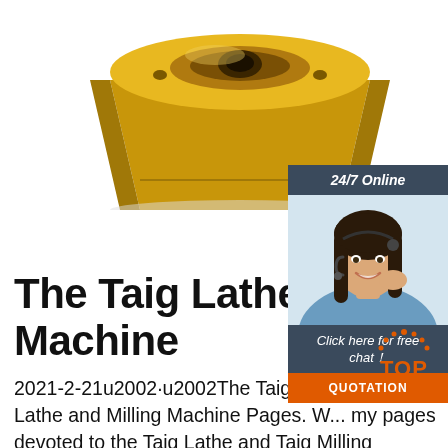[Figure (photo): Gold-colored machined metal part, appears to be a CNC-milled brass or aluminum component, viewed from an angle showing its complex geometry.]
[Figure (photo): 24/7 Online chat widget with a smiling woman wearing a headset, dark blue header with '24/7 Online', 'Click here for free chat!' text, and an orange QUOTATION button.]
The Taig Lathe and Milling Machine
2021-2-21u2002·u2002The Taig Lathe M... Taig Lathe and Milling Machine Pages. W... my pages devoted to the Taig Lathe and Taig Milling Machines! I have been using Taig equipment in my own shop for over fourteen years and I am an enthusiastic fan of the Taig Lathe and Milling Machines (both the manual and CNC versions), their
[Figure (logo): Orange TOP badge with dotted arc above the text 'TOP'.]